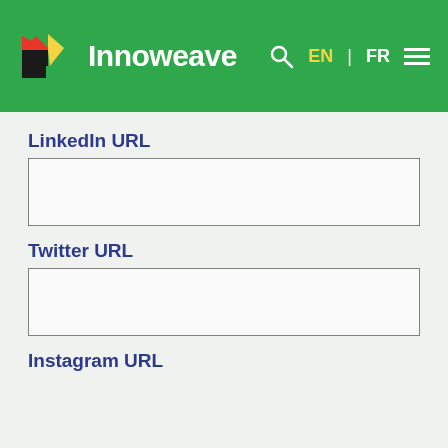[Figure (logo): Innoweave logo with colorful cube icon and white text on green header bar, with search icon, EN/FR language toggle, and hamburger menu]
LinkedIn URL
[Figure (screenshot): Empty input field for LinkedIn URL]
Twitter URL
[Figure (screenshot): Empty input field for Twitter URL]
Instagram URL